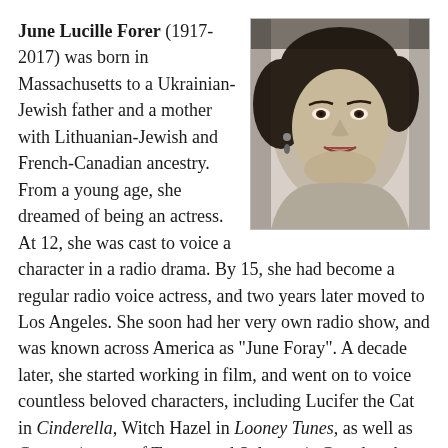[Figure (photo): Black and white portrait photograph of June Foray, a woman with dark curled hair, wearing pearl necklace and earrings, smiling slightly, from approximately the 1940s or 1950s.]
June Lucille Forer (1917-2017) was born in Massachusetts to a Ukrainian-Jewish father and a mother with Lithuanian-Jewish and French-Canadian ancestry. From a young age, she dreamed of being an actress. At 12, she was cast to voice a character in a radio drama. By 15, she had become a regular radio voice actress, and two years later moved to Los Angeles. She soon had her very own radio show, and was known across America as "June Foray". A decade later, she started working in film, and went on to voice countless beloved characters, including Lucifer the Cat in Cinderella, Witch Hazel in Looney Tunes, as well as Granny (owner of Tweety and Sylvester), Grandmother Fa in Mulan, Aunt May in Spider-Man, and Cindy Lou Who in How the Grinch Stole Christmas. Perhaps most famously, she was